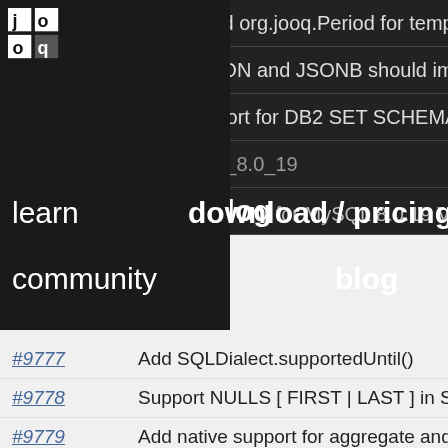[Figure (screenshot): jOOQ website navigation bar overlay showing logo, learn, download/pricing, community, blog links on dark background]
#9741 — Add org.jooq.Period for temporal validity
#9747 — JSON and JSONB should implement Serializable
#9762 — Add support for DB2 SET SCHEMA command
#9772 — ...MySQL 8.0_19
#9773 — Add support for MySQL 8.0.19 VALUES clause
#9777 — Add SQLDialect.supportedUntil()
#9778 — Support NULLS [ FIRST | LAST ] in SQLite 3.30
#9779 — Add native support for aggregate and window f...
#9780 — Add Settings.parseSetCommands
#9781 — Add DSLContext.set(Name, Param<?>) for arbit...
#9790 — Add internal functional interfaces F0, F1, F2
#9796 — Generated annotation should produce HTTPS li...
#9799 — Make TableOptions available through code gene...
#9800 — Make TableOptions available through org.jooq.M...
#9801 — Make TableOptions available through Informatio...
#9805 — Generate view source code with generated view...